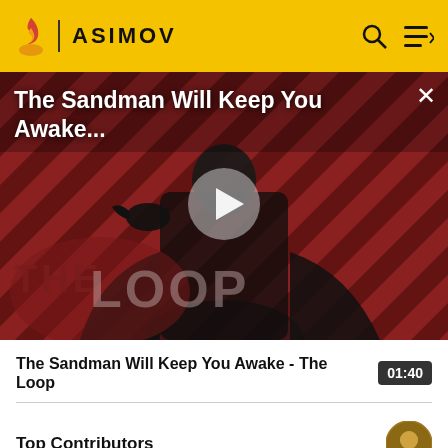ASIMOV
[Figure (screenshot): Video thumbnail for 'The Sandman Will Keep You Awake - The Loop' showing a dark-cloaked figure with a crow against a red and black diagonal striped background with 'THE LOOP' text overlay and a play button in the center]
The Sandman Will Keep You Awake - The Loop
Top Contributors
Comments (0)